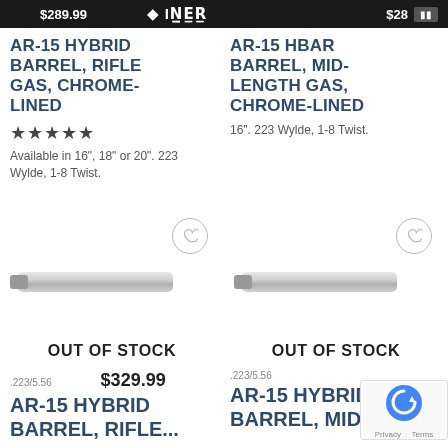$289.99  [logo]  $28...
AR-15 HYBRID BARREL, RIFLE GAS, CHROME-LINED
★★★★★
Available in 16", 18" or 20". 223 Wylde, 1-8 Twist.
AR-15 HBAR BARREL, MID-LENGTH GAS, CHROME-LINED
16". 223 Wylde, 1-8 Twist.
[Figure (photo): Rifle barrel product image with wishlist button, OUT OF STOCK overlay]
[Figure (photo): Rifle barrel product image with wishlist button, OUT OF STOCK overlay]
.223/5.56  $329.99
AR-15 HYBRID BARREL, RIFLE...
.223/5.56
AR-15 HYBRID BARREL, MID-...